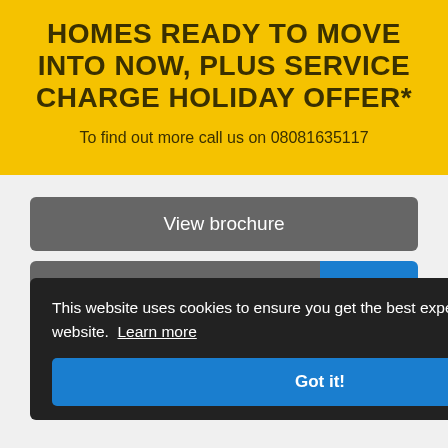HOMES READY TO MOVE INTO NOW, PLUS SERVICE CHARGE HOLIDAY OFFER*
To find out more call us on 08081635117
View brochure
Register now
This website uses cookies to ensure you get the best experience on our website. Learn more
Got it!